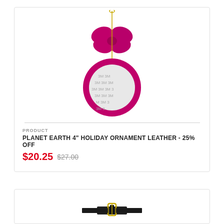[Figure (photo): Pink/magenta leather holiday ornament with bow on top and circular ornament body with 3M adhesive backing visible]
PRODUCT
PLANET EARTH 4" HOLIDAY ORNAMENT LEATHER - 25% Off
$20.25 $27.00
[Figure (photo): Dark leather strap/belt product with gold hardware, partially visible at bottom of page]